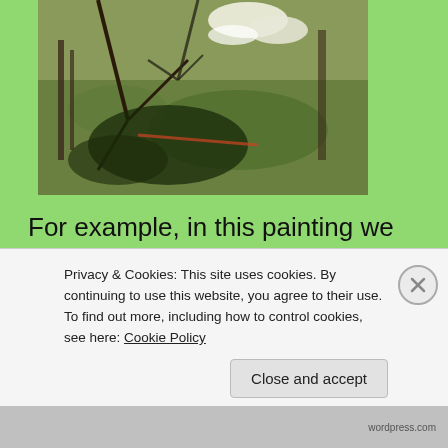[Figure (illustration): Painting showing branches and stems in the foreground with trees and a landscape in the background, painted by Cristiana Angelini.]
For example, in this painting we can see how the stem on the foreground as the same importance, the same height as the trees in the background. I think this painting resume well how Cristiana Angelini want us to look at the landscape she painted. How scales don't
Privacy & Cookies: This site uses cookies. By continuing to use this website, you agree to their use.
To find out more, including how to control cookies, see here: Cookie Policy
Close and accept